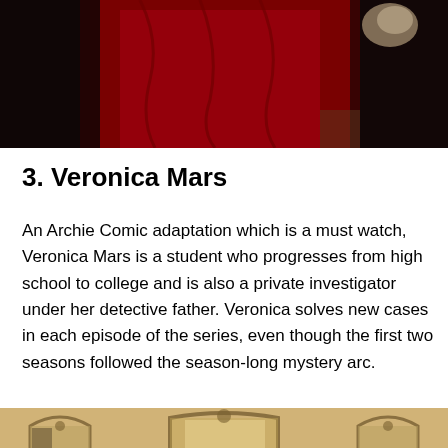[Figure (photo): Top portion of a photo showing a person in a red costume or garment against a dark background, with what appears to be a bird or object in the upper right area.]
3. Veronica Mars
An Archie Comic adaptation which is a must watch, Veronica Mars is a student who progresses from high school to college and is also a private investigator under her detective father. Veronica solves new cases in each episode of the series, even though the first two seasons followed the season-long mystery arc.
[Figure (photo): Bottom portion showing an interior scene with arched windows or mirrors with ornate frames, warm golden tones, appearing to be a vintage or period setting.]